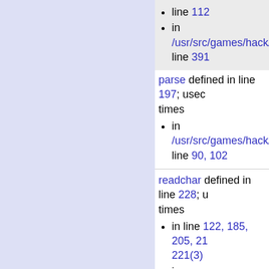in /usr/src/games/hack/hac... line 112
in /usr/src/games/hack/hac... line 391
parse defined in line 197; used... times
in /usr/src/games/hack/hac... line 90, 102
readchar defined in line 228; u... times
in line 122, 185, 205, 21... 221(3)
in /usr/src/games/hack/hac... line 179-183(2)
in /usr/src/games/hack/h... line 378
in /usr/src/games/hack/hac... line 244
in /usr/src/games/hack/hac... line 19, 141